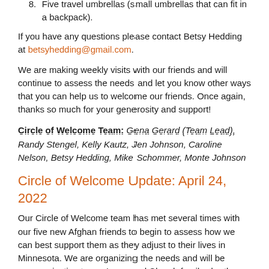8. Five travel umbrellas (small umbrellas that can fit in a backpack).
If you have any questions please contact Betsy Hedding at betsyhedding@gmail.com.
We are making weekly visits with our friends and will continue to assess the needs and let you know other ways that you can help us to welcome our friends. Once again, thanks so much for your generosity and support!
Circle of Welcome Team: Gena Gerard (Team Lead), Randy Stengel, Kelly Kautz, Jen Johnson, Caroline Nelson, Betsy Hedding, Mike Schommer, Monte Johnson
Circle of Welcome Update: April 24, 2022
Our Circle of Welcome team has met several times with our five new Afghan friends to begin to assess how we can best support them as they adjust to their lives in Minnesota. We are organizing the needs and will be communicating to our Immanuel Church family shortly some ways that you can